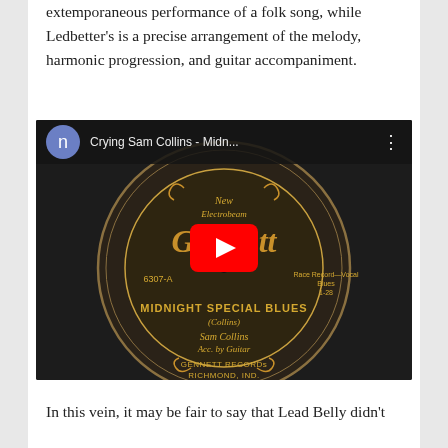extemporaneous performance of a folk song, while Ledbetter's is a precise arrangement of the melody, harmonic progression, and guitar accompaniment.
[Figure (screenshot): YouTube video thumbnail showing a Gennett Records label for 'Midnight Special Blues' by Sam Collins (6307-A), with YouTube play button overlay and video title 'Crying Sam Collins - Midn...' in the top bar.]
In this vein, it may be fair to say that Lead Belly didn't